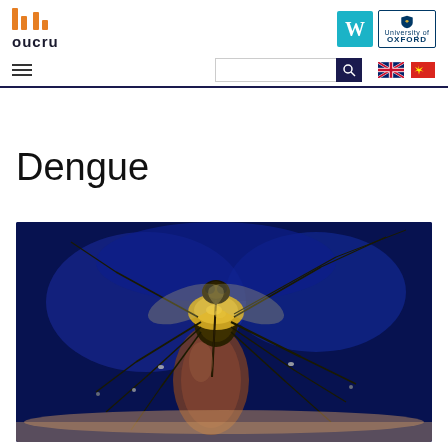oucru - Oxford University Clinical Research Unit
Dengue
[Figure (photo): Close-up macro photograph of a mosquito (Aedes aegypti) feeding, on a dark blue background, showing detailed body structure including golden/black coloring]